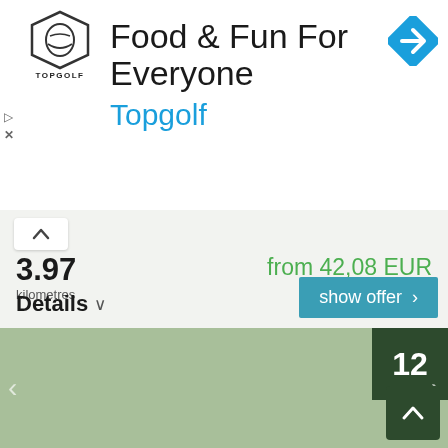[Figure (screenshot): Topgolf advertisement banner with logo and navigation icon showing 'Food & Fun For Everyone' heading and 'Topgolf' subtitle in blue]
3.97
kilometres
from 42,08 EUR
per room and night
Details  v
show offer >
[Figure (map): Green map area with badge showing '12', left/right navigation arrows, and scroll-up button in dark green]